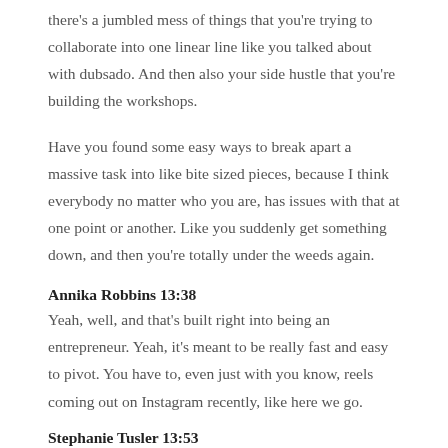there's a jumbled mess of things that you're trying to collaborate into one linear line like you talked about with dubsado. And then also your side hustle that you're building the workshops.
Have you found some easy ways to break apart a massive task into like bite sized pieces, because I think everybody no matter who you are, has issues with that at one point or another. Like you suddenly get something down, and then you're totally under the weeds again.
Annika Robbins 13:38
Yeah, well, and that's built right into being an entrepreneur. Yeah, it's meant to be really fast and easy to pivot. You have to, even just with you know, reels coming out on Instagram recently, like here we go.
Stephanie Tusler 13:53